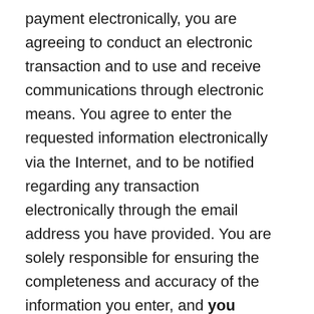payment electronically, you are agreeing to conduct an electronic transaction and to use and receive communications through electronic means. You agree to enter the requested information electronically via the Internet, and to be notified regarding any transaction electronically through the email address you have provided. You are solely responsible for ensuring the completeness and accuracy of the information you enter, and you hereby agree to defend, indemnify and hold harmless Envolve, their affiliates, licensors and service providers, and its and their respective officers, directors, employees, contractors, agents, licensors, suppliers, successors and assigns from and against any claims, liabilities, damages, judgements, awards, losses, costs, expenses, or fees